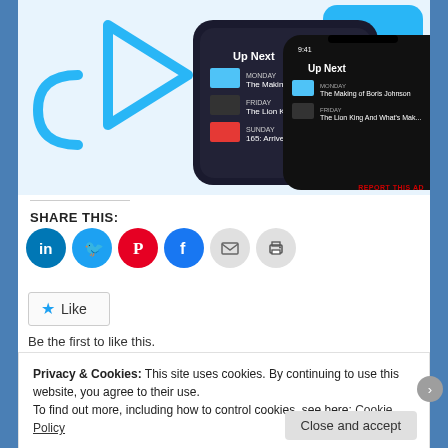[Figure (screenshot): App screenshot showing 'Up Next' podcast queue on a dark-themed mobile UI, with blue decorative shapes on white background. Text shows 'Up Next', 'The Making of Boris Johnson', 'The Lion K...', '165: Arrive...'. Small text at bottom right says 'REPORT THIS AD'.]
SHARE THIS:
[Figure (infographic): Row of 6 social sharing icon buttons: LinkedIn (blue circle), Twitter (blue circle), Pinterest (red circle), Facebook (blue circle), Email (gray circle), Print (gray circle)]
[Figure (other): Like button with star icon and 'Like' text]
Be the first to like this.
Privacy & Cookies: This site uses cookies. By continuing to use this website, you agree to their use.
To find out more, including how to control cookies, see here: Cookie Policy
Close and accept